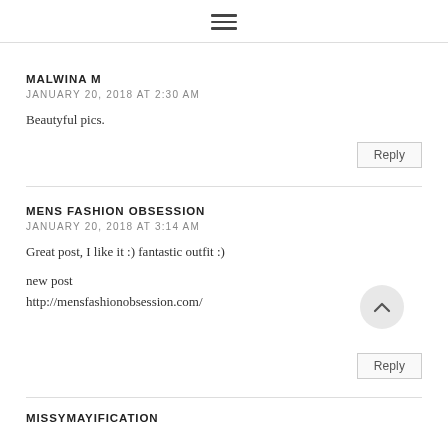≡
MALWINA M
JANUARY 20, 2018 AT 2:30 AM
Beautyful pics.
Reply
MENS FASHION OBSESSION
JANUARY 20, 2018 AT 3:14 AM
Great post, I like it :) fantastic outfit :)
new post
http://mensfashionobsession.com/
Reply
MISSYMAYIFICATION